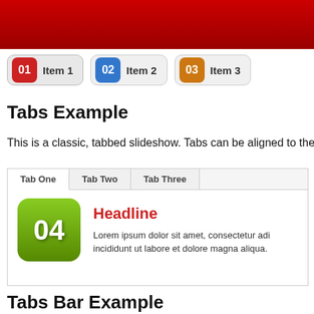[Figure (screenshot): Red gradient banner at top of page]
[Figure (infographic): Navigation tabs with numbered badges: 01 Item 1 (red badge), 02 Item 2 (blue badge), 03 Item 3 (orange badge)]
Tabs Example
This is a classic, tabbed slideshow. Tabs can be aligned to the left, r
[Figure (screenshot): Tab panel with Tab One, Tab Two, Tab Three tabs. Tab One content shows green icon with 04 and Headline text with Lorem ipsum body.]
Tabs Bar Example
This is a slideshow with a tabbed navigation bar. Tabs can be aligned
[Figure (screenshot): Tab bar with Tab One, Tab Two, Tab Three tabs at bottom of page]